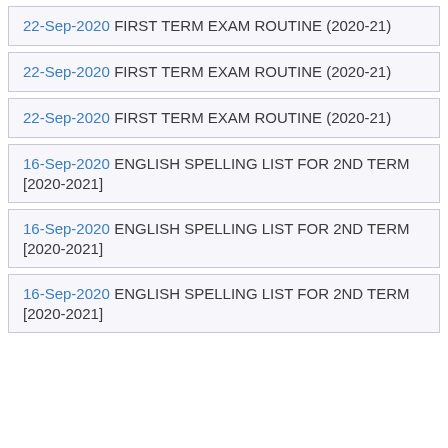22-Sep-2020 FIRST TERM EXAM ROUTINE (2020-21)
22-Sep-2020 FIRST TERM EXAM ROUTINE (2020-21)
22-Sep-2020 FIRST TERM EXAM ROUTINE (2020-21)
16-Sep-2020 ENGLISH SPELLING LIST FOR 2ND TERM [2020-2021]
16-Sep-2020 ENGLISH SPELLING LIST FOR 2ND TERM [2020-2021]
16-Sep-2020 ENGLISH SPELLING LIST FOR 2ND TERM [2020-2021]